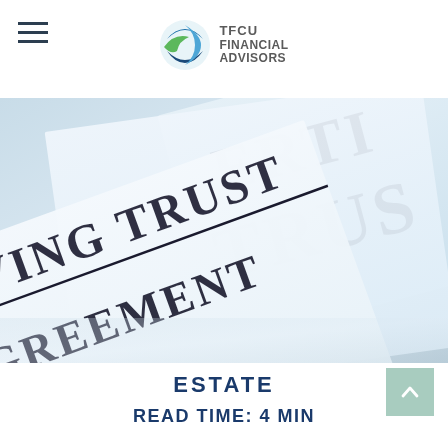TFCU Financial Advisors
[Figure (photo): Close-up photo of legal documents titled 'LIVING TRUST AGREEMENT' and 'TRUST', documents are white paper with bold black serif text on a light blue tinted background]
ESTATE
READ TIME: 4 MIN